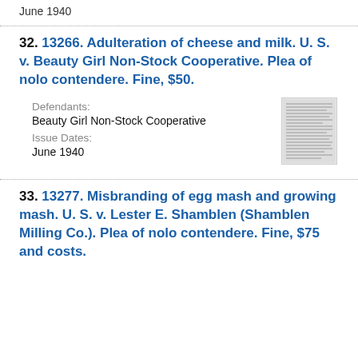June 1940
32. 13266. Adulteration of cheese and milk. U. S. v. Beauty Girl Non-Stock Cooperative. Plea of nolo contendere. Fine, $50.
Defendants:
Beauty Girl Non-Stock Cooperative
Issue Dates:
June 1940
[Figure (photo): Thumbnail image of a document page with dense text lines]
33. 13277. Misbranding of egg mash and growing mash. U. S. v. Lester E. Shamblen (Shamblen Milling Co.). Plea of nolo contendere. Fine, $75 and costs.